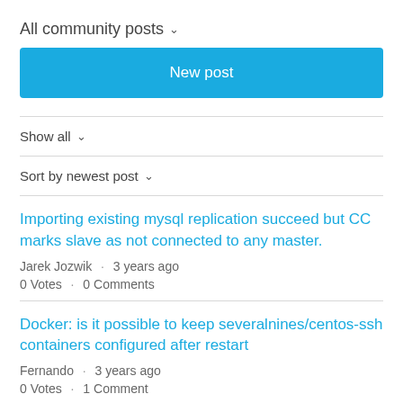All community posts
New post
Show all
Sort by newest post
Importing existing mysql replication succeed but CC marks slave as not connected to any master.
Jarek Jozwik · 3 years ago
0 Votes · 0 Comments
Docker: is it possible to keep severalnines/centos-ssh containers configured after restart
Fernando · 3 years ago
0 Votes · 1 Comment